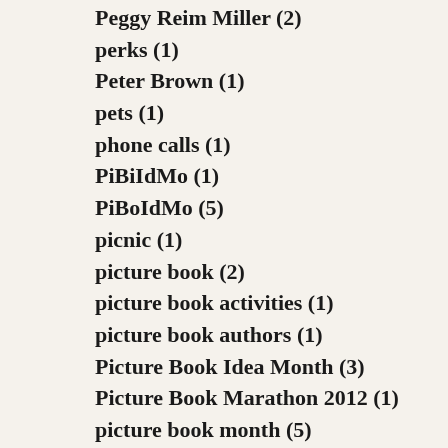Peggy Reim Miller (2)
perks (1)
Peter Brown (1)
pets (1)
phone calls (1)
PiBiIdMo (1)
PiBoIdMo (5)
picnic (1)
picture book (2)
picture book activities (1)
picture book authors (1)
Picture Book Idea Month (3)
Picture Book Marathon 2012 (1)
picture book month (5)
picture book month 2015 (1)
Picture Book Month 2016 (1)
picture book text (1)
Picture Book Walk (3)
picture book workshop (1)